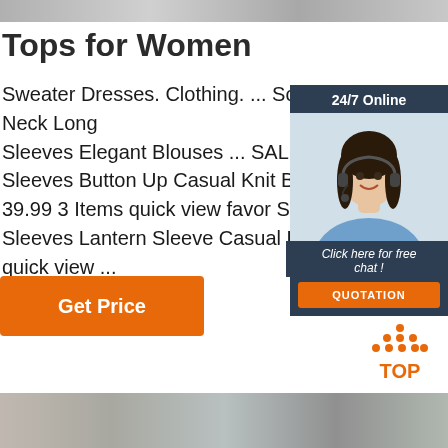[Figure (photo): Top strip showing partial clothing/fashion image in grayscale]
Tops for Women
Sweater Dresses. Clothing. ... Solid Lace V Neck Long Sleeves Elegant Blouses ... SALE! Solid V Sleeves Button Up Casual Knit Blouses U 39.99 3 Items quick view favor Solid Knit Sleeves Lantern Sleeve Casual Blouses U quick view ...
[Figure (photo): 24/7 Online chat widget showing a smiling female customer service agent wearing a headset, with dark blue background, 'Click here for free chat!' text, and an orange QUOTATION button]
[Figure (other): Orange and white TOP back-to-top button icon with dot pattern forming an upward arrow above the word TOP]
[Figure (photo): Bottom strip showing partial clothing/fashion image in grayscale]
Get Price